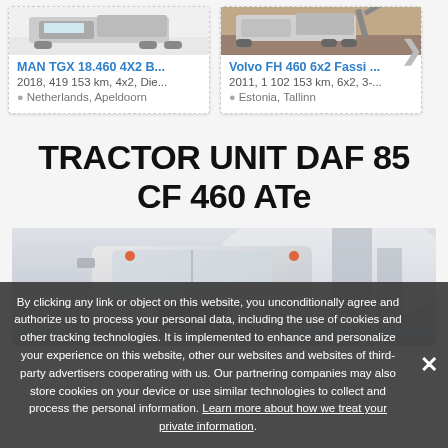[Figure (screenshot): Thumbnail image of MAN TGX truck listing — white truck on light background]
MAN TGX 18.460 4X2 B...
2018, 419 153 km, 4x2, Die...
Netherlands, Apeldoorn
[Figure (screenshot): Thumbnail image of Volvo FH truck listing — truck with crane/Fassi attachment]
Volvo FH 460 6x2 Fassi ...
2011, 1 102 153 km, 6x2, 3-...
Estonia, Tallinn
TRACTOR UNIT DAF 85 CF 460 ATe
[Figure (photo): Photo of a white DAF 85 CF tractor unit truck cab viewed from the front-side angle in foggy/misty conditions]
By clicking any link or object on this website, you unconditionally agree and authorize us to process your personal data, including the use of cookies and other tracking technologies. It is implemented to enhance and personalize your experience on this website, other our websites and websites of third-party advertisers cooperating with us. Our partnering companies may also store cookies on your device or use similar technologies to collect and process the personal information. Learn more about how we treat your private information.